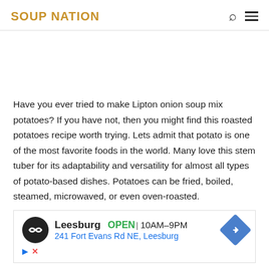SOUP NATION
Have you ever tried to make Lipton onion soup mix potatoes? If you have not, then you might find this roasted potatoes recipe worth trying. Lets admit that potato is one of the most favorite foods in the world. Many love this stem tuber for its adaptability and versatility for almost all types of potato-based dishes. Potatoes can be fried, boiled, steamed, microwaved, or even oven-roasted.
[Figure (other): Advertisement banner for a local business: Leesburg, OPEN 10AM-9PM, 241 Fort Evans Rd NE, Leesburg]